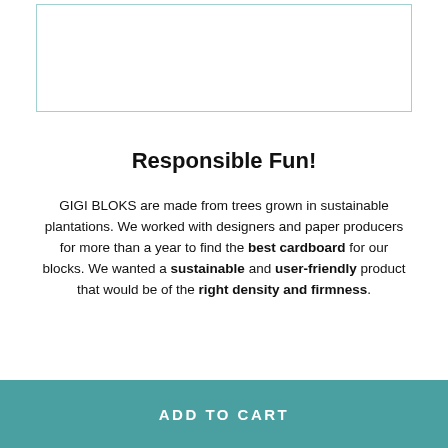[Figure (other): Empty bordered box at top of page with teal/light blue border]
Responsible Fun!
GIGI BLOKS are made from trees grown in sustainable plantations. We worked with designers and paper producers for more than a year to find the best cardboard for our blocks. We wanted a sustainable and user-friendly product that would be of the right density and firmness.
Our cardboard is made from finished, unbleached soft fi...
ADD TO CART